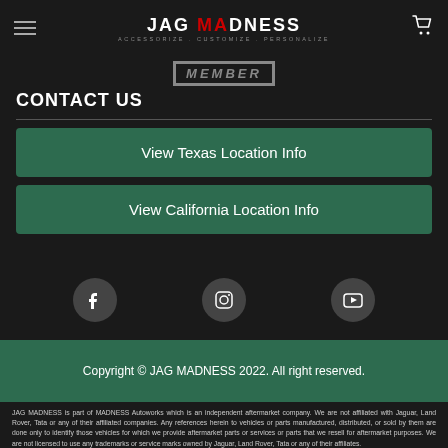JAG MADNESS — ACCESSORIZE . CUSTOMIZE . PERSONALIZE
[Figure (logo): JAG MADNESS logo with hamburger menu and cart icon]
MEMBER
CONTACT US
View Texas Location Info
View California Location Info
[Figure (infographic): Social media icons: Facebook, Instagram, YouTube]
Copyright © JAG MADNESS 2022. All right reserved.
JAG MADNESS is part of MADNESS Autoworks which is an independent aftermarket company. We are not affiliated with Jaguar, Land Rover, Tata or any of their affiliated companies. Any references herein to vehicles or parts manufactured, distributed, or sold by them are done only to identify those vehicles for which we provide aftermarket parts or services or parts that we resell for aftermarket purposes. We are not licensed to use any trademarks or service marks owned by Jaguar, Land Rover, Tata or any of their affiliates.